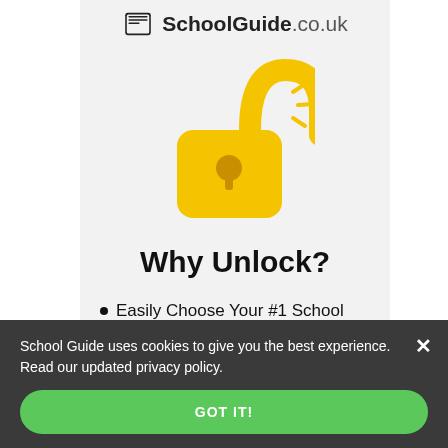SchoolGuide.co.uk
[Figure (illustration): Golden/yellow unlocked padlock icon with shine lines on upper right]
Why Unlock?
Easily Choose Your #1 School
See All Official School Data
View 2022 Catchment Area Maps
School Guide uses cookies to give you the best experience. Read our updated privacy policy.
GOT IT!